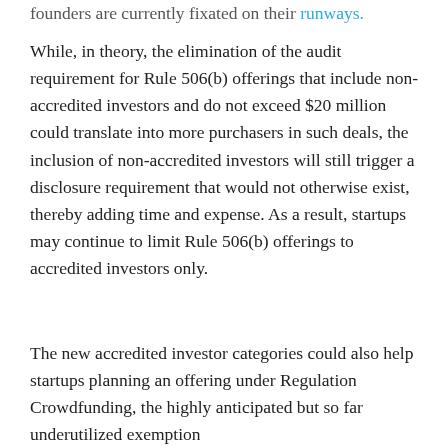founders are currently fixated on their runways.
While, in theory, the elimination of the audit requirement for Rule 506(b) offerings that include non-accredited investors and do not exceed $20 million could translate into more purchasers in such deals, the inclusion of non-accredited investors will still trigger a disclosure requirement that would not otherwise exist, thereby adding time and expense. As a result, startups may continue to limit Rule 506(b) offerings to accredited investors only.
The new accredited investor categories could also help startups planning an offering under Regulation Crowdfunding, the highly anticipated but so far underutilized exemption